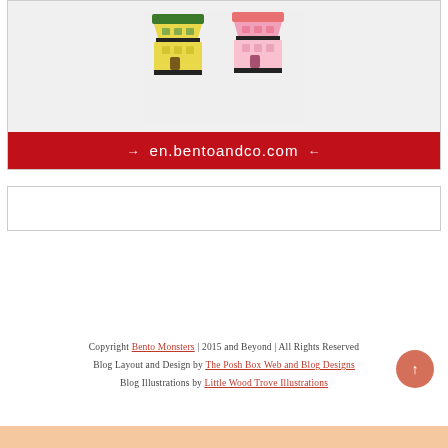[Figure (photo): Advertisement image for en.bentoandco.com showing two house-shaped bento box sets — one yellow/green and one pink — stacked in tiers against a light patterned background. A red banner at the bottom displays the URL en.bentoandco.com with decorative arrows.]
[Figure (other): Empty white box, likely a placeholder for an advertisement or widget.]
Copyright Bento Monsters | 2015 and Beyond | All Rights Reserved
Blog Layout and Design by The Posh Box Web and Blog Designs
Blog Illustrations by Little Wood Trove Illustrations